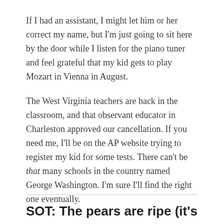If I had an assistant, I might let him or her correct my name, but I'm just going to sit here by the door while I listen for the piano tuner and feel grateful that my kid gets to play Mozart in Vienna in August.
The West Virginia teachers are back in the classroom, and that observant educator in Charleston approved our cancellation. If you need me, I'll be on the AP website trying to register my kid for some tests. There can't be that many schools in the country named George Washington. I'm sure I'll find the right one eventually.
SOT: The pears are ripe (it's a